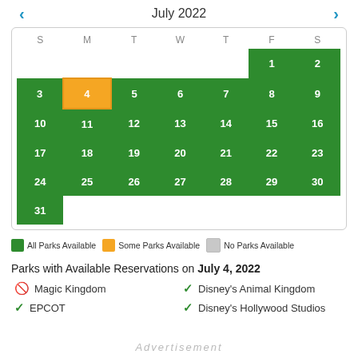July 2022
| S | M | T | W | T | F | S |
| --- | --- | --- | --- | --- | --- | --- |
|  |  |  |  |  | 1 | 2 |
| 3 | 4 | 5 | 6 | 7 | 8 | 9 |
| 10 | 11 | 12 | 13 | 14 | 15 | 16 |
| 17 | 18 | 19 | 20 | 21 | 22 | 23 |
| 24 | 25 | 26 | 27 | 28 | 29 | 30 |
| 31 |  |  |  |  |  |  |
All Parks Available   Some Parks Available   No Parks Available
Parks with Available Reservations on July 4, 2022
Magic Kingdom — not available
Disney's Animal Kingdom — available
EPCOT — available
Disney's Hollywood Studios — available
Advertisement